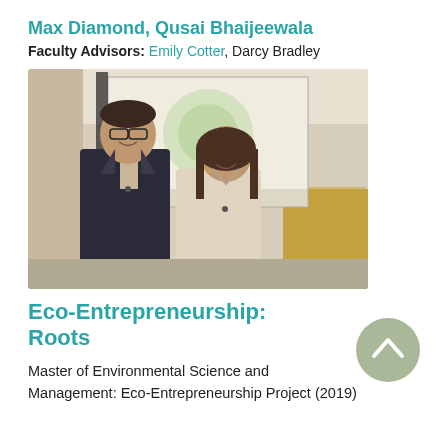Max Diamond, Qusai Bhaijeewala
Faculty Advisors: Emily Cotter, Darcy Bradley
[Figure (photo): Two people standing and smiling in a lecture room in front of a projection screen. The person on the left is a tall man in a dark suit, and the person on the right is a woman in a light-colored top.]
Eco-Entrepreneurship: Roots
Master of Environmental Science and Management: Eco-Entrepreneurship Project (2019)